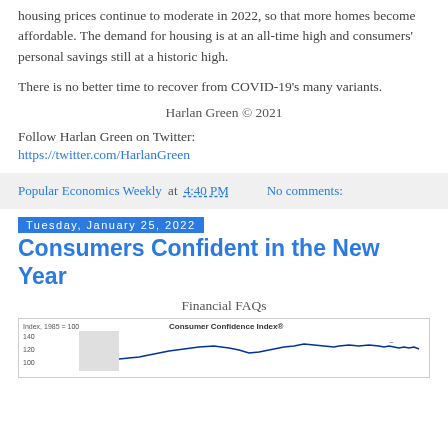housing prices continue to moderate in 2022, so that more homes become affordable. The demand for housing is at an all-time high and consumers' personal savings still at a historic high.
There is no better time to recover from COVID-19’s many variants.
Harlan Green © 2021
Follow Harlan Green on Twitter:
https://twitter.com/HarlanGreen
Popular Economics Weekly at 4:40 PM    No comments:
Tuesday, January 25, 2022
Consumers Confident in the New Year
Financial FAQs
[Figure (continuous-plot): Consumer Confidence Index® chart showing index values (1985=100) with a line graph, partially visible at bottom of page]